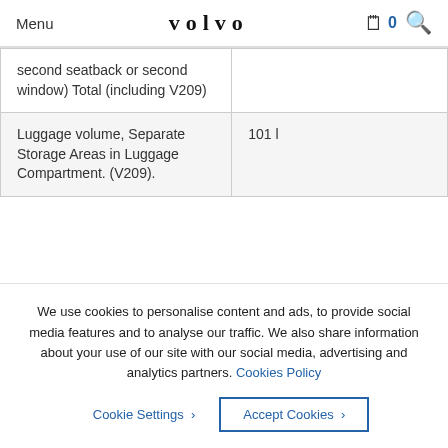Menu | VOLVO | 0
| second seatback or second window) Total (including V209) |  |
| Luggage volume, Separate Storage Areas in Luggage Compartment. (V209). | 101 l |
We use cookies to personalise content and ads, to provide social media features and to analyse our traffic. We also share information about your use of our site with our social media, advertising and analytics partners. Cookies Policy
Cookie Settings > | Accept Cookies >